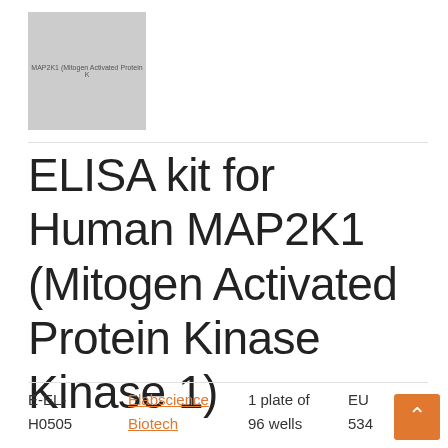[Figure (photo): Product image placeholder for MAP2K1 (Mitogen Activated Protein Kinase) ELISA kit, shown as gray rectangle with label text]
ELISA kit for Human MAP2K1 (Mitogen Activated Protein Kinase Kinase 1)
E-EL-H0505   Elabscience Biotech   1 plate of 96 wells   EUR 534